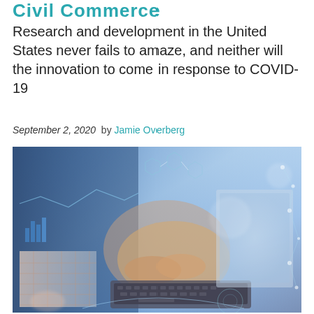Civil Commerce
Research and development in the United States never fails to amaze, and neither will the innovation to come in response to COVID-19
September 2, 2020  by Jamie Overberg
[Figure (photo): Person typing on a laptop with digital network graphics overlay, blue-toned technology image depicting innovation and data analytics]